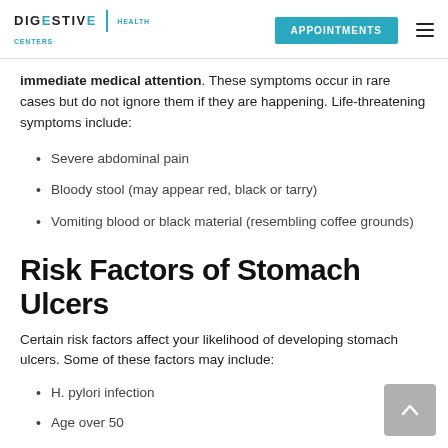DIGESTIVE HEALTH CENTERS | APPOINTMENTS
immediate medical attention. These symptoms occur in rare cases but do not ignore them if they are happening. Life-threatening symptoms include:
Severe abdominal pain
Bloody stool (may appear red, black or tarry)
Vomiting blood or black material (resembling coffee grounds)
Risk Factors of Stomach Ulcers
Certain risk factors affect your likelihood of developing stomach ulcers. Some of these factors may include:
H. pylori infection
Age over 50